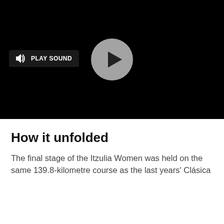[Figure (screenshot): Black video player with a gray circular play button in the center and a 'PLAY SOUND' button with speaker icon on the left side]
How it unfolded
The final stage of the Itzulia Women was held on the same 139.8-kilometre course as the last years' Clásica